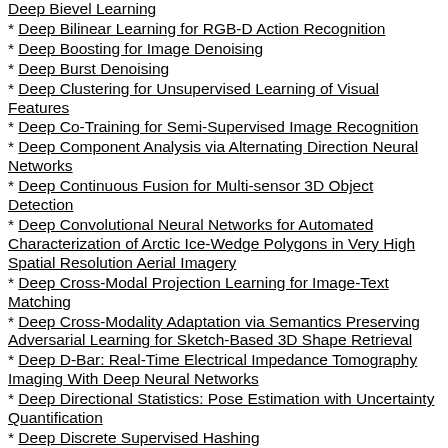Deep Bilinear Learning for RGB-D Action Recognition
Deep Boosting for Image Denoising
Deep Burst Denoising
Deep Clustering for Unsupervised Learning of Visual Features
Deep Co-Training for Semi-Supervised Image Recognition
Deep Component Analysis via Alternating Direction Neural Networks
Deep Continuous Fusion for Multi-sensor 3D Object Detection
Deep Convolutional Neural Networks for Automated Characterization of Arctic Ice-Wedge Polygons in Very High Spatial Resolution Aerial Imagery
Deep Cross-Modal Projection Learning for Image-Text Matching
Deep Cross-Modality Adaptation via Semantics Preserving Adversarial Learning for Sketch-Based 3D Shape Retrieval
Deep D-Bar: Real-Time Electrical Impedance Tomography Imaging With Deep Neural Networks
Deep Directional Statistics: Pose Estimation with Uncertainty Quantification
Deep Discrete Supervised Hashing
Deep Discriminative Model for Video Classification
Deep Domain Generalization via Conditional Invariant Adversarial Networks